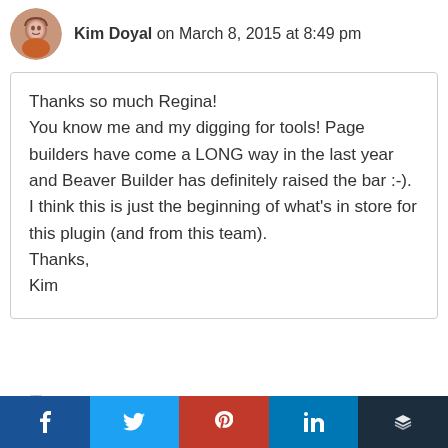Kim Doyal on March 8, 2015 at 8:49 pm
Thanks so much Regina!
You know me and my digging for tools! Page builders have come a LONG way in the last year and Beaver Builder has definitely raised the bar :-). I think this is just the beginning of what's in store for this plugin (and from this team).
Thanks,
Kim
Reply
HostNerds on May 5, 2015 at 2:07 pm